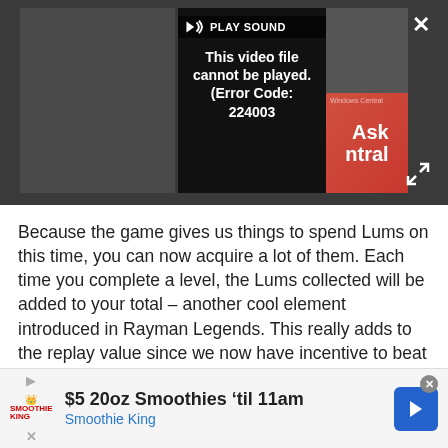[Figure (screenshot): Video player showing error: 'This video file cannot be played. (Error Code: 224003)' with PLAY SOUND label and Ask Central watermark]
Because the game gives us things to spend Lums on this time, you can now acquire a lot of them. Each time you complete a level, the Lums collected will be added to your total – another cool element introduced in Rayman Legends. This really adds to the replay value since we now have incentive to beat levels again, even after perfecting them. Impatient players can also opt to buy Lums as an In-App Purchase, but that's unnecessary since you earn so
[Figure (screenshot): Advertisement banner for Smoothie King: '$5 20oz Smoothies til 11am' with Smoothie King logo and blue arrow icon]